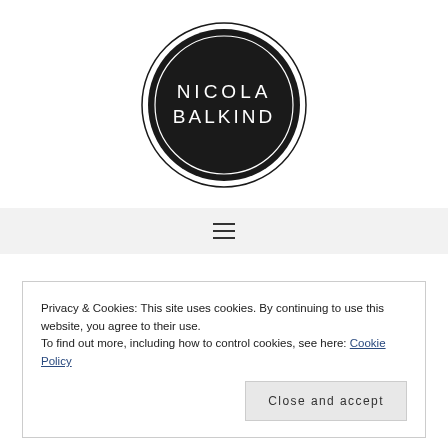[Figure (logo): Circular black logo with white text reading NICOLA BALKIND, black fill circle with thin outer ring]
[Figure (other): Hamburger menu icon with three horizontal lines on a light grey background navigation bar]
Privacy & Cookies: This site uses cookies. By continuing to use this website, you agree to their use.
To find out more, including how to control cookies, see here: Cookie Policy
Close and accept